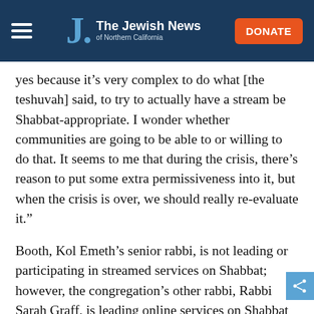The Jewish News of Northern California
yes because it’s very complex to do what [the teshuvah] said, to try to actually have a stream be Shabbat-appropriate. I wonder whether communities are going to be able to or willing to do that. It seems to me that during the crisis, there’s reason to put some extra permissiveness into it, but when the crisis is over, we should really re-evaluate it.”
Booth, Kol Emeth’s senior rabbi, is not leading or participating in streamed services on Shabbat; however, the congregation’s other rabbi, Rabbi Sarah Graff, is leading online services on Shabbat